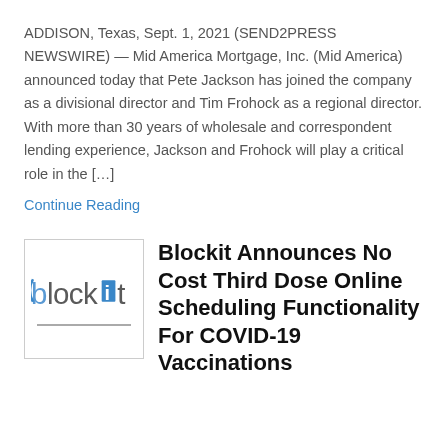ADDISON, Texas, Sept. 1, 2021 (SEND2PRESS NEWSWIRE) — Mid America Mortgage, Inc. (Mid America) announced today that Pete Jackson has joined the company as a divisional director and Tim Frohock as a regional director. With more than 30 years of wholesale and correspondent lending experience, Jackson and Frohock will play a critical role in the […]
Continue Reading
[Figure (logo): Blockit logo — text 'blockit' with a blue calendar/block icon replacing the letter 'k']
Blockit Announces No Cost Third Dose Online Scheduling Functionality For COVID-19 Vaccinations